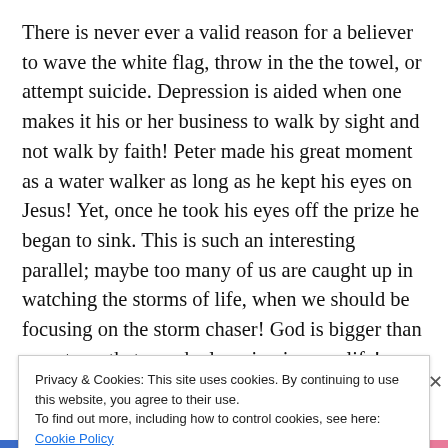There is never ever a valid reason for a believer to wave the white flag, throw in the the towel, or attempt suicide. Depression is aided when one makes it his or her business to walk by sight and not walk by faith! Peter made his great moment as a water walker as long as he kept his eyes on Jesus! Yet, once he took his eyes off the prize he began to sink. This is such an interesting parallel; maybe too many of us are caught up in watching the storms of life, when we should be focusing on the storm chaser! God is bigger than any storm that may be looming in your life! Look to him when you can't look to any other
Privacy & Cookies: This site uses cookies. By continuing to use this website, you agree to their use.
To find out more, including how to control cookies, see here: Cookie Policy
Close and accept